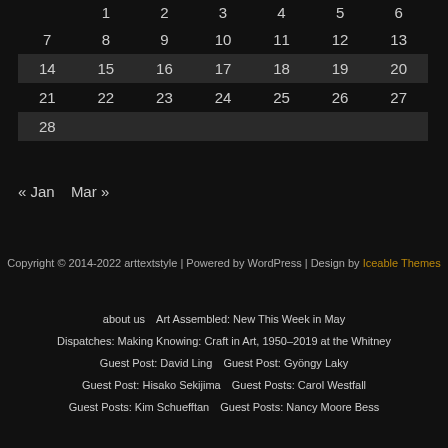|  |  |  |  |  |  |  |
| --- | --- | --- | --- | --- | --- | --- |
| 1 | 2 | 3 | 4 | 5 | 6 |  |
| 7 | 8 | 9 | 10 | 11 | 12 | 13 |
| 14 | 15 | 16 | 17 | 18 | 19 | 20 |
| 21 | 22 | 23 | 24 | 25 | 26 | 27 |
| 28 |  |  |  |  |  |  |
« Jan   Mar »
Copyright © 2014-2022 arttextstyle | Powered by WordPress | Design by Iceable Themes
about us | Art Assembled: New This Week in May | Dispatches: Making Knowing: Craft in Art, 1950–2019 at the Whitney | Guest Post: David Ling | Guest Post: Gyöngy Laky | Guest Post: Hisako Sekijima | Guest Posts: Carol Westfall | Guest Posts: Kim Schuefftan | Guest Posts: Nancy Moore Bess